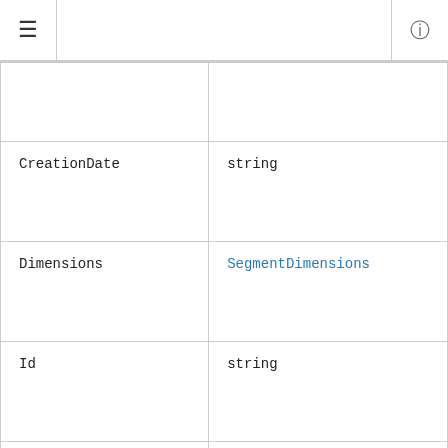≡  ⓘ
|  |  |
| CreationDate | string |
| Dimensions | SegmentDimensions |
| Id | string |
| ImportDefinition | SegmentImportResource |
| LastModifiedDate | string |